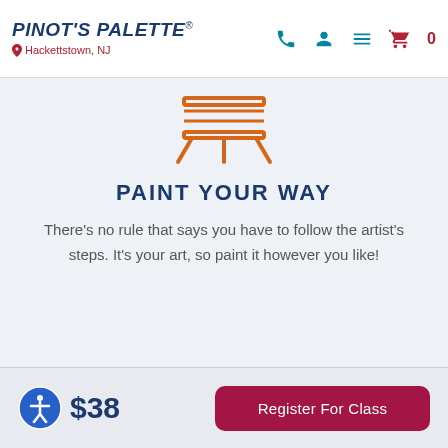Pinot's Palette - Hackettstown, NJ
[Figure (illustration): Orange easel/table icon]
PAINT YOUR WAY
There's no rule that says you have to follow the artist's steps. It's your art, so paint it however you like!
$38
Register For Class